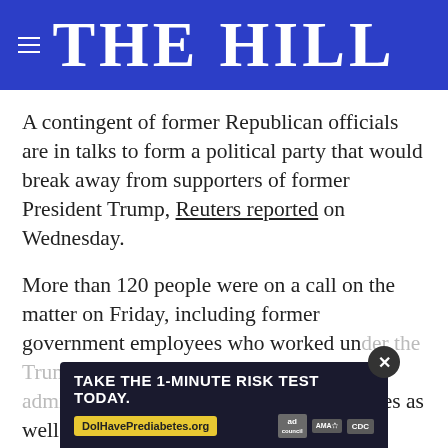THE HILL
A contingent of former Republican officials are in talks to form a political party that would break away from supporters of former President Trump, Reuters reported on Wednesday.
More than 120 people were on a call on the matter on Friday, including former government employees who worked under the Trump administration, the Reagan administration, as well as former GOP members of Congress
[Figure (other): Advertisement overlay: TAKE THE 1-MINUTE RISK TEST TODAY. DolHavePrediabetes.org with ad council, AMA, and CDC logos. Close button (X) visible.]